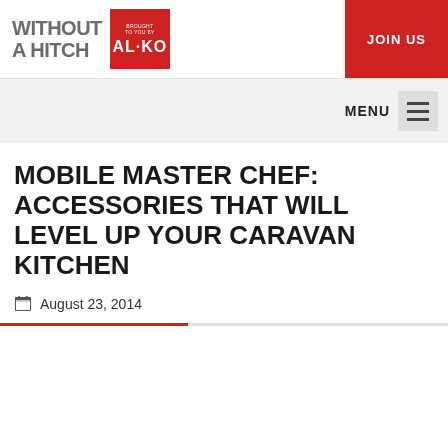WITHOUT A HITCH | BROUGHT TO YOU BY AL-KO | JOIN US
MOBILE MASTER CHEF: ACCESSORIES THAT WILL LEVEL UP YOUR CARAVAN KITCHEN
August 23, 2014